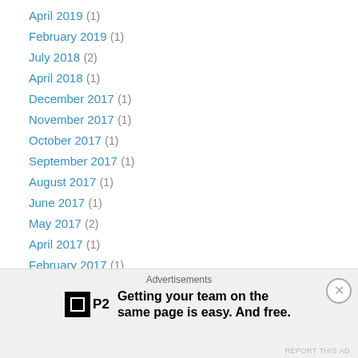April 2019 (1)
February 2019 (1)
July 2018 (2)
April 2018 (1)
December 2017 (1)
November 2017 (1)
October 2017 (1)
September 2017 (1)
August 2017 (1)
June 2017 (1)
May 2017 (2)
April 2017 (1)
February 2017 (1)
December 2016 (1)
November 2016 (1)
October 2016 (1)
Advertisements
Getting your team on the same page is easy. And free.